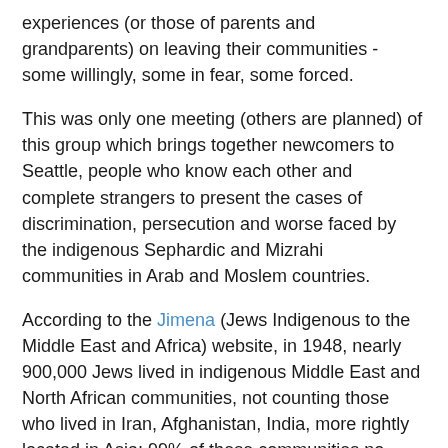experiences (or those of parents and grandparents) on leaving their communities - some willingly, some in fear, some forced.
This was only one meeting (others are planned) of this group which brings together newcomers to Seattle, people who know each other and complete strangers to present the cases of discrimination, persecution and worse faced by the indigenous Sephardic and Mizrahi communities in Arab and Moslem countries.
According to the Jimena (Jews Indigenous to the Middle East and Africa) website, in 1948, nearly 900,000 Jews lived in indigenous Middle East and North African communities, not counting those who lived in Iran, Afghanistan, India, more rightly located in Asia; 99% of these communities no longer exist. Arab governments forced people to leave, confiscated property and stripped them of their citizenships.
The 20 or so individuals at the brunch had origins in Yemen, Morocco, Tunisia, Iran, Turkey, Syria and India. Iraqis described the Farhud (pogrom) in Bagdad; Yemenite